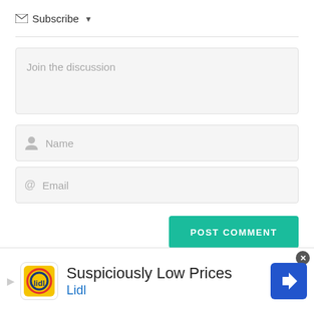✉ Subscribe ▼
Join the discussion
Name
Email
POST COMMENT
24 COMMENTS
[Figure (infographic): Advertisement banner for Lidl: 'Suspiciously Low Prices' with Lidl logo and navigation icon]